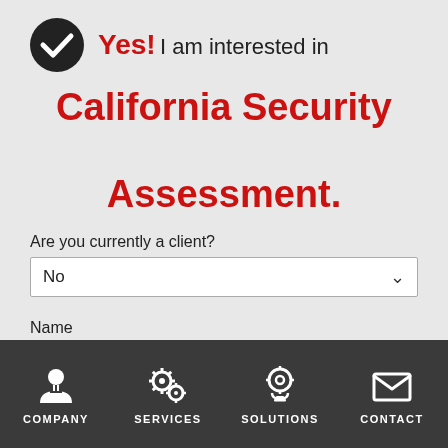Yes! I am interested in California Security Assessment.
Are you currently a client?
No
Name
Company
COMPANY | SERVICES | SOLUTIONS | CONTACT